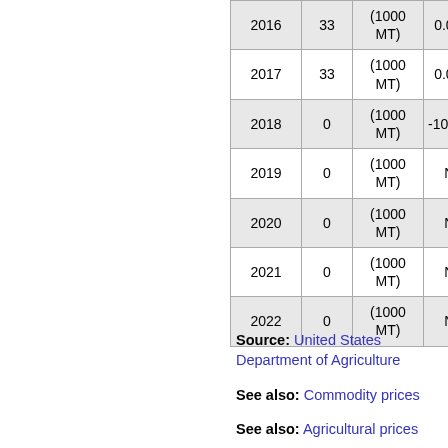| Year | Value | Unit | Change |
| --- | --- | --- | --- |
| 2016 | 33 | (1000 MT) | 0.00% |
| 2017 | 33 | (1000 MT) | 0.00% |
| 2018 | 0 | (1000 MT) | -100.00% |
| 2019 | 0 | (1000 MT) | NA |
| 2020 | 0 | (1000 MT) | NA |
| 2021 | 0 | (1000 MT) | NA |
| 2022 | 0 | (1000 MT) | NA |
Source: United States Department of Agriculture
See also: Commodity prices
See also: Agricultural prices
See also: Commodities market